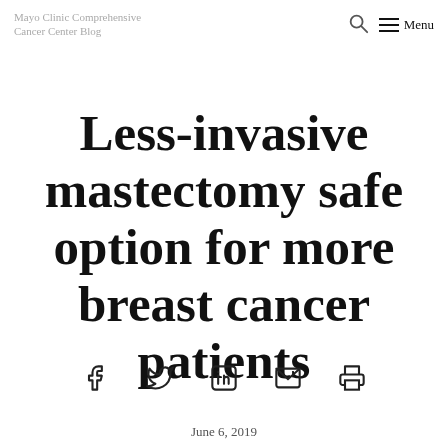Mayo Clinic Comprehensive Cancer Center Blog
Less-invasive mastectomy safe option for more breast cancer patients
[Figure (other): Social sharing icons: Facebook, Twitter, LinkedIn, Email, Print]
June 6, 2019